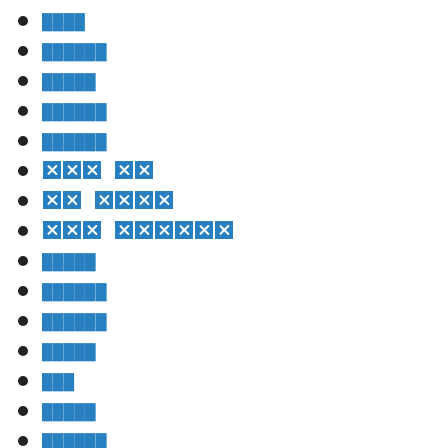████
██████
█████
██████
██████
[redacted] [redacted]
[redacted] [redacted]
[redacted] [redacted]
█████
██████
██████
█████
███
█████
██████
██
████